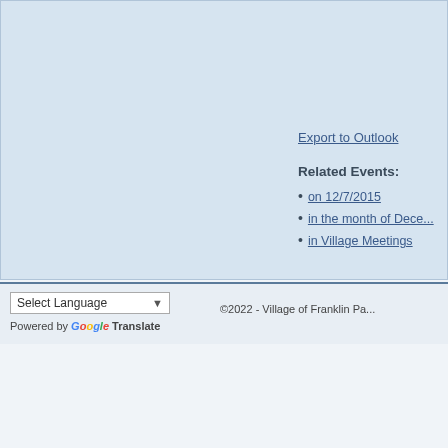Export to Outlook
Related Events:
on 12/7/2015
in the month of December
in Village Meetings
Select Language
Powered by Google Translate
©2022 - Village of Franklin Park